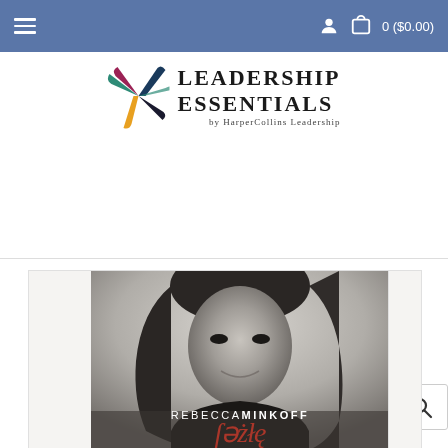[Figure (screenshot): Navigation bar with hamburger menu, user icon, and cart showing 0 ($0.00) on a blue background]
[Figure (logo): Leadership Essentials by HarperCollins Leadership logo with colorful pinwheel graphic]
Search our store..
[Figure (photo): Book cover featuring a black and white portrait photo of Rebecca Minkoff with her name overlaid and a cursive script title below]